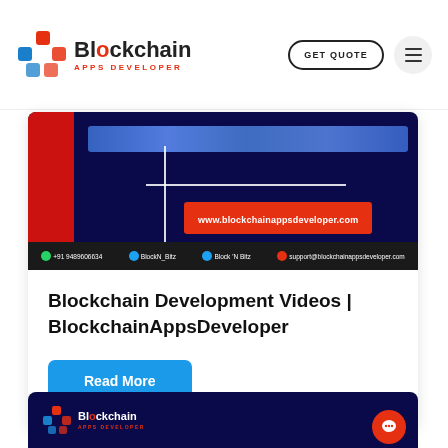[Figure (screenshot): Blockchain Apps Developer website header with logo, GET QUOTE button, and hamburger menu]
[Figure (screenshot): Dark navy banner image with red sidebar, white cross lines, red URL box showing www.blockchainappsdeveloper.com, and contact bar at bottom with phone +91 9489606634, BlockN_Bitz, Block 'N Bitz, support@blockchainappsdeveloper.com]
Blockchain Development Videos | BlockchainAppsDeveloper
Read More
[Figure (screenshot): Partial card at bottom showing Blockchain Apps Developer logo on dark navy background]